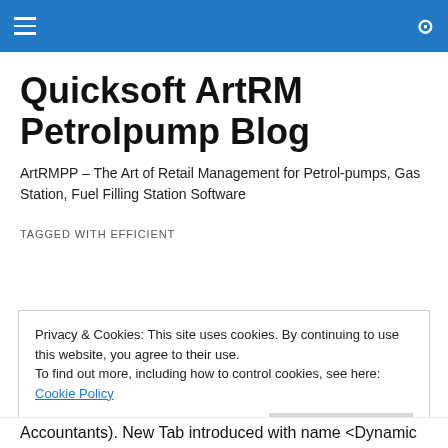Quicksoft ArtRM Petrolpump Blog [navigation bar]
Quicksoft ArtRM Petrolpump Blog
ArtRMPP – The Art of Retail Management for Petrol-pumps, Gas Station, Fuel Filling Station Software
TAGGED WITH EFFICIENT
Privacy & Cookies: This site uses cookies. By continuing to use this website, you agree to their use.
To find out more, including how to control cookies, see here: Cookie Policy
Close and accept
Accountants). New Tab introduced with name <Dynamic